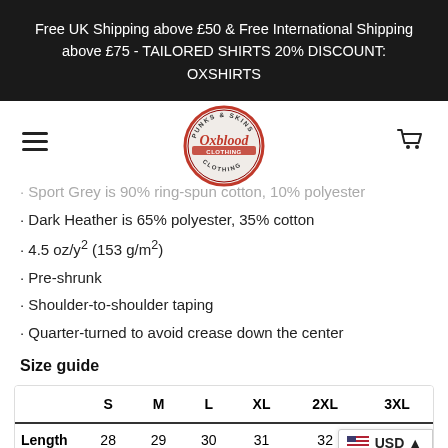Free UK Shipping above £50 & Free International Shipping above £75 - TAILORED SHIRTS 20% DISCOUNT: OXSHIRTS
[Figure (logo): Oxblood Clothing logo — circular badge with 'Punks & Skins' text around top, 'Oxblood' in red script across center, 'Clothing' around bottom]
Sport Grey is 90% ring-spun cotton, 10% polyester
Dark Heather is 65% polyester, 35% cotton
4.5 oz/y² (153 g/m²)
Pre-shrunk
Shoulder-to-shoulder taping
Quarter-turned to avoid crease down the center
Size guide
|  | S | M | L | XL | 2XL | 3XL |
| --- | --- | --- | --- | --- | --- | --- |
| Length | 28 | 29 | 30 | 31 | 32 |  |